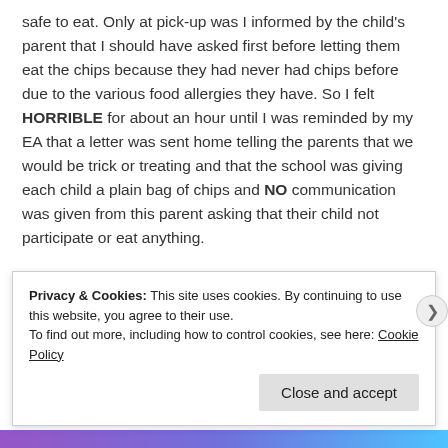safe to eat. Only at pick-up was I informed by the child's parent that I should have asked first before letting them eat the chips because they had never had chips before due to the various food allergies they have. So I felt HORRIBLE for about an hour until I was reminded by my EA that a letter was sent home telling the parents that we would be trick or treating and that the school was giving each child a plain bag of chips and NO communication was given from this parent asking that their child not participate or eat anything.
We sent home a bunch of cute crafts for all the parents, and the class picture. And a few moms also created treat bags for the kids and passed them out at pick-up. We asked that they...
Privacy & Cookies: This site uses cookies. By continuing to use this website, you agree to their use.
To find out more, including how to control cookies, see here: Cookie Policy
Close and accept